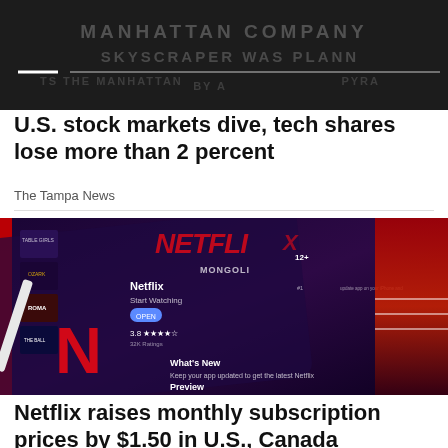[Figure (photo): Dark background image with embossed text reading 'MANHATTAN COMPANY', 'SKYSCRAPER WAS PLANN', with white decorative lines overlay]
U.S. stock markets dive, tech shares lose more than 2 percent
The Tampa News
[Figure (photo): Netflix app shown on a tablet device sitting on a red surface, displaying the Netflix logo, app store interface with rating 3.8 stars, Open button, What's New and Preview sections]
Netflix raises monthly subscription prices by $1.50 in U.S., Canada